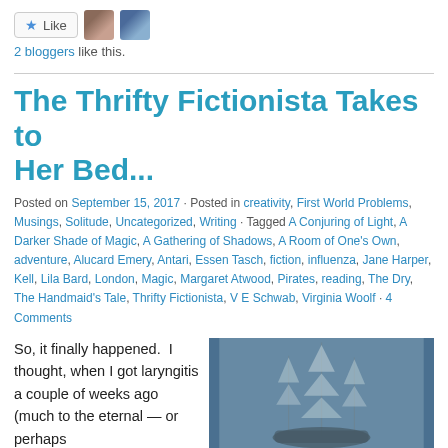[Figure (other): Like button with star icon and two blogger avatars]
2 bloggers like this.
The Thrifty Fictionista Takes to Her Bed...
Posted on September 15, 2017 · Posted in creativity, First World Problems, Musings, Solitude, Uncategorized, Writing · Tagged A Conjuring of Light, A Darker Shade of Magic, A Gathering of Shadows, A Room of One's Own, adventure, Alucard Emery, Antari, Essen Tasch, fiction, influenza, Jane Harper, Kell, Lila Bard, London, Magic, Margaret Atwood, Pirates, reading, The Dry, The Handmaid's Tale, Thrifty Fictionista, V E Schwab, Virginia Woolf · 4 Comments
So, it finally happened.  I thought, when I got laryngitis a couple of weeks ago (much to the eternal — or perhaps
[Figure (photo): A sailing ship with tall masts against a grey-blue foggy background]